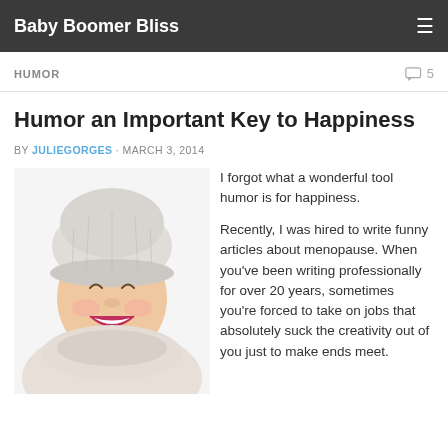Baby Boomer Bliss
HUMOR
Humor an Important Key to Happiness
BY JULIEGORGES · MARCH 3, 2014
[Figure (photo): Woman laughing with white knit hat, red lips, white background]
I forgot what a wonderful tool humor is for happiness.

Recently, I was hired to write funny articles about menopause. When you've been writing professionally for over 20 years, sometimes you're forced to take on jobs that absolutely suck the creativity out of you just to make ends meet.